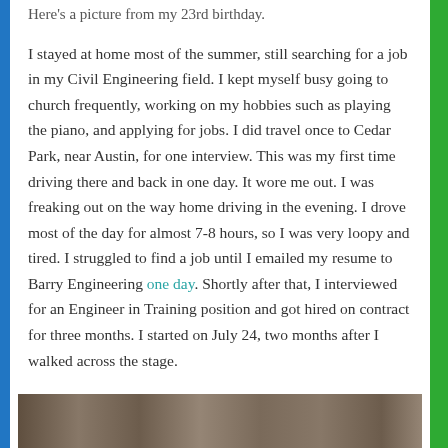Here's a picture from my 23rd birthday. I stayed at home most of the summer, still searching for a job in my Civil Engineering field. I kept myself busy going to church frequently, working on my hobbies such as playing the piano, and applying for jobs. I did travel once to Cedar Park, near Austin, for one interview. This was my first time driving there and back in one day. It wore me out. I was freaking out on the way home driving in the evening. I drove most of the day for almost 7-8 hours, so I was very loopy and tired. I struggled to find a job until I emailed my resume to Barry Engineering one day. Shortly after that, I interviewed for an Engineer in Training position and got hired on contract for three months. I started on July 24, two months after I walked across the stage.
[Figure (photo): A partially visible outdoor photograph at the bottom of the page, appearing to show a natural scene, cropped to show only the top portion.]